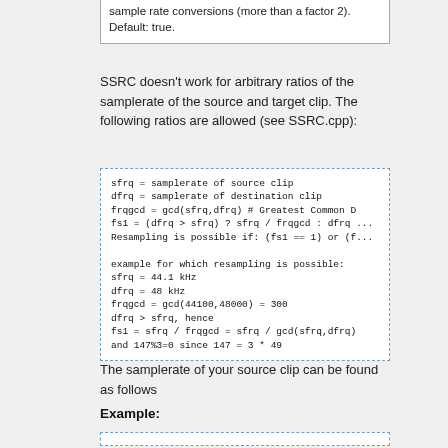| sample rate conversions (more than a factor 2). Default: true. |
SSRC doesn't work for arbitrary ratios of the samplerate of the source and target clip. The following ratios are allowed (see SSRC.cpp):
The samplerate of your source clip can be found as follows
Example: